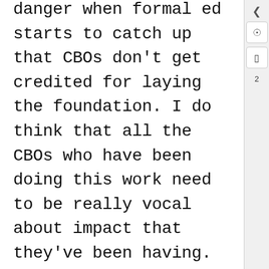danger when formal ed starts to catch up that CBOs don't get credited for laying the foundation. I do think that all the CBOs who have been doing this work need to be really vocal about impact that they've been having. I don't know that there is much information already out there as a collective about what the impact has been on kids because of this work that's been happening now for years before formal education started introducing digital learning  system